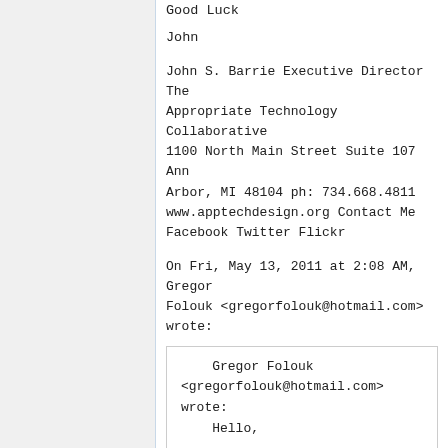Good Luck
John
John S. Barrie Executive Director The Appropriate Technology Collaborative 1100 North Main Street Suite 107 Ann Arbor, MI 48104 ph: 734.668.4811 www.apptechdesign.org Contact Me Facebook Twitter Flickr
On Fri, May 13, 2011 at 2:08 AM, Gregor Folouk <gregorfolouk@hotmail.com> wrote:
Gregor Folouk <gregorfolouk@hotmail.com> wrote:
    Hello,

    I am  volunteering with
    the organization Factor E